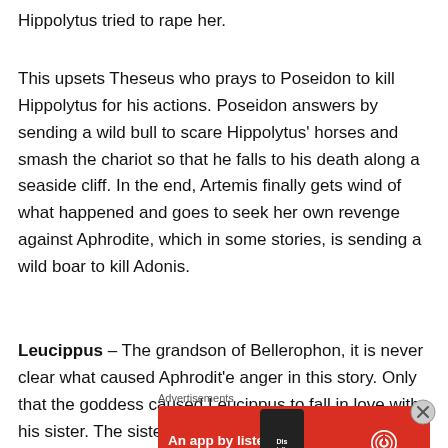Hippolytus tried to rape her.
This upsets Theseus who prays to Poseidon to kill Hippolytus for his actions. Poseidon answers by sending a wild bull to scare Hippolytus' horses and smash the chariot so that he falls to his death along a seaside cliff. In the end, Artemis finally gets wind of what happened and goes to seek her own revenge against Aphrodite, which in some stories, is sending a wild boar to kill Adonis.
Leucippus – The grandson of Bellerophon, it is never clear what caused Aphrodit'e anger in this story. Only that the goddess caused Leucippus to fall in love with his sister. The sister was already betrothed to another and the
Advertisements
[Figure (infographic): Red advertisement banner for Pocket Casts app with text 'An app by listeners, for listeners.' and Pocket Casts logo on the right, with a phone image in the background.]